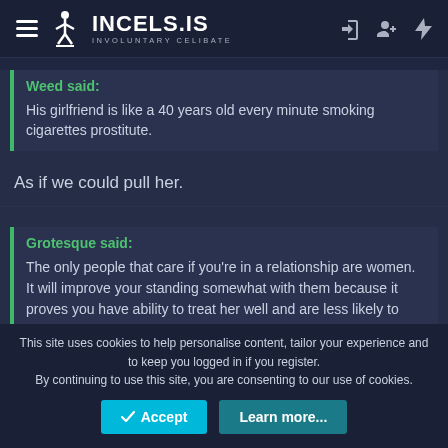INCELS.IS INVOLUNTARY CELIBATE
Weed said:
His girlfriend is like a 40 years old every minute smoking cigarettes prostitute.
As if we could pull her.
Grotesque said:
The only people that care if you're in a relationship are women. It will improve your standing somewhat with them because it proves you have ability to treat her well and are less likely to rape and kill her.
This site uses cookies to help personalise content, tailor your experience and to keep you logged in if you register.
By continuing to use this site, you are consenting to our use of cookies.